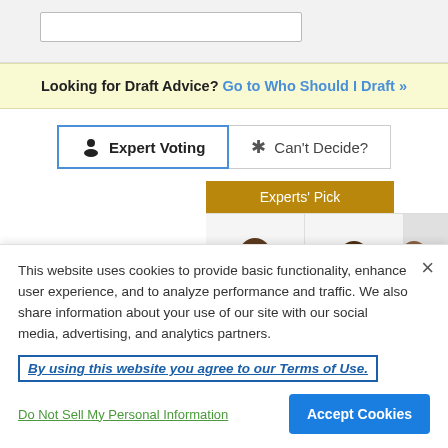Looking for Draft Advice? Go to Who Should I Draft »
Expert Voting | Can't Decide?
[Figure (screenshot): Experts' Pick table header with two player photo cells visible]
This website uses cookies to provide basic functionality, enhance user experience, and to analyze performance and traffic. We also share information about your use of our site with our social media, advertising, and analytics partners.
By using this website you agree to our Terms of Use.
Do Not Sell My Personal Information
Accept Cookies